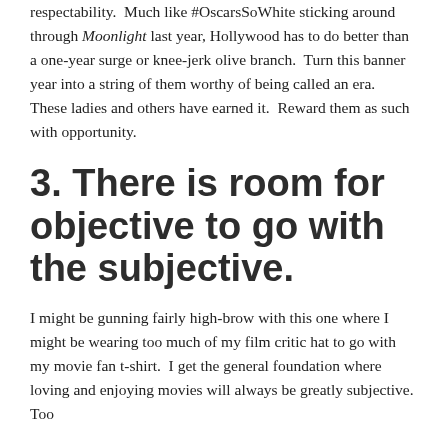respectability.  Much like #OscarsSoWhite sticking around through Moonlight last year, Hollywood has to do better than a one-year surge or knee-jerk olive branch.  Turn this banner year into a string of them worthy of being called an era.  These ladies and others have earned it.  Reward them as such with opportunity.
3. There is room for objective to go with the subjective.
I might be gunning fairly high-brow with this one where I might be wearing too much of my film critic hat to go with my movie fan t-shirt.  I get the general foundation where loving and enjoying movies will always be greatly subjective.  Too